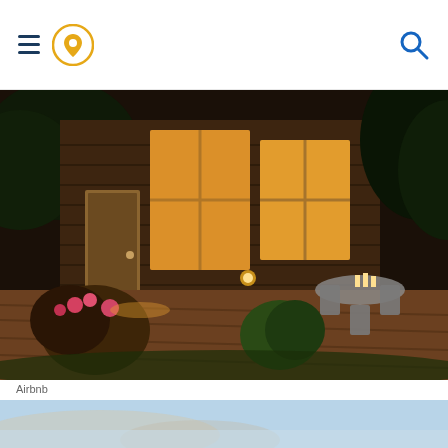Navigation header with hamburger menu, location pin icon, and search icon
[Figure (photo): Exterior night photo of a wooden cabin with warm interior lighting visible through large windows, a wooden deck in foreground with outdoor patio furniture, surrounded by lush green plants and flowers]
Airbnb
It's located right on Esopus Creek, with gorgeous views of the Catskills all around. Enjoy fishing, forest hikes, or just soaking in the otherworldly scenery.
[Figure (infographic): Toyota advertisement banner: Toyota logo on left, photos of Toyota vehicles in center, text 'SEARCH THE LARGEST SELECTION OF INVENTORY' with 'SHOP TOYOTA' red button on right]
[Figure (map): Partial map view showing terrain in bottom portion of page]